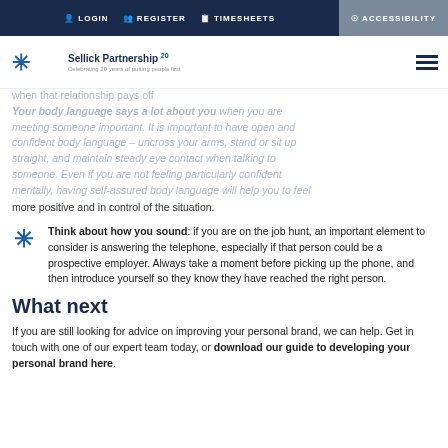LOGIN  REGISTER  TIMESHEETS  ACCESSIBILITY
[Figure (logo): Sellick Partnership logo with 20th anniversary mark]
when that relationship pays off Your body language says a lot about you when you are meeting someone important. It is important to have open and confident body language – uncross your arms, stand or sit up straight, and maintain steady eye contact when talking to someone. Even if you are not feeling particularly confident mentally, having self-assured body language will help you to feel more positive and in control of the situation.
Think about how you sound: if you are on the job hunt, an important element to consider is answering the telephone, especially if that person could be a prospective employer. Always take a moment before picking up the phone, and then introduce yourself so they know they have reached the right person.
What next
If you are still looking for advice on improving your personal brand, we can help. Get in touch with one of our expert team today, or download our guide to developing your personal brand here.